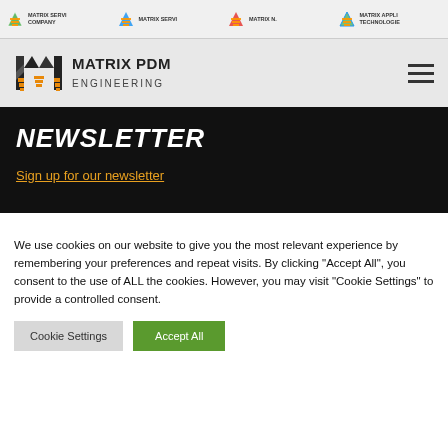MATRIX SERVI COMPANY | MATRIX SERVI | MATRIX N. | MATRIX APPLI TECHNOLOGIE
[Figure (logo): Matrix PDM Engineering logo with geometric M mark]
NEWSLETTER
Sign up for our newsletter
We use cookies on our website to give you the most relevant experience by remembering your preferences and repeat visits. By clicking "Accept All", you consent to the use of ALL the cookies. However, you may visit "Cookie Settings" to provide a controlled consent.
Cookie Settings | Accept All